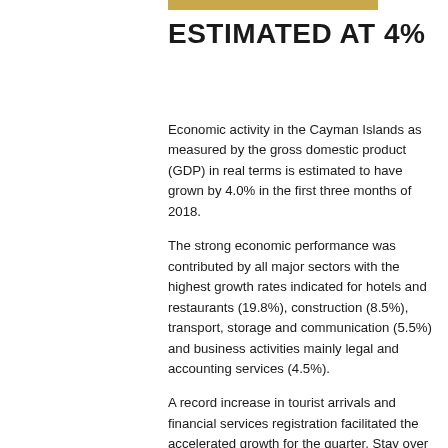ESTIMATED AT 4%
Economic activity in the Cayman Islands as measured by the gross domestic product (GDP) in real terms is estimated to have grown by 4.0% in the first three months of 2018.
The strong economic performance was contributed by all major sectors with the highest growth rates indicated for hotels and restaurants (19.8%), construction (8.5%), transport, storage and communication (5.5%) and business activities mainly legal and accounting services (4.5%).
A record increase in tourist arrivals and financial services registration facilitated the accelerated growth for the quarter. Stay over tourist arrivals increased by 20.6% while new company and new partnership registrations rose by 41.7% and 28.7%, respectively. Stock exchange listings also rose by 30.9% to register its highest level since 2009.
Coinciding with the strong GDP growth, the central government recorded an overall surplus of CI$186.8 million in the first three months of 2018, the highest